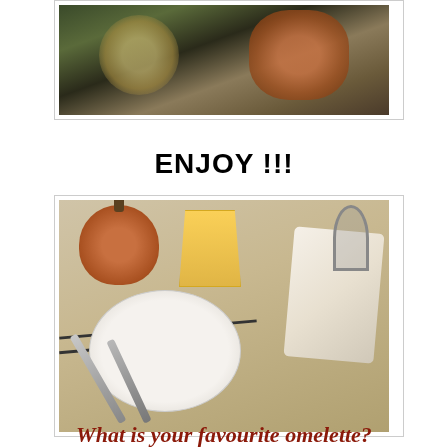[Figure (photo): Partial view of food on skewers or fork, with green garnish, shot from above on dark background - top portion of image cut off at page top]
ENJOY !!!
[Figure (photo): Table setting with a pumpkin, glass of orange juice, a strainer/utensil, white napkin, decorated white plate, and silver knife and fork on a striped tablecloth]
What is your favourite omelette?